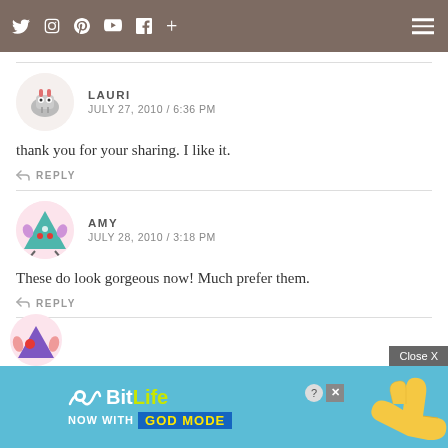Social icons navigation bar with hamburger menu
LAURI
JULY 27, 2010 / 6:36 PM
thank you for your sharing. I like it.
REPLY
AMY
JULY 28, 2010 / 3:18 PM
These do look gorgeous now! Much prefer them.
REPLY
[Figure (screenshot): BitLife advertisement banner with GOD MODE text over blue background]
Close X